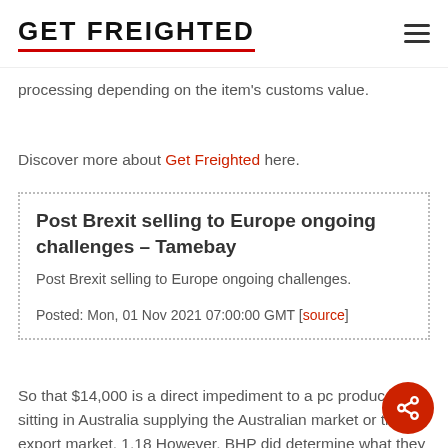GET FREIGHTED
processing depending on the item's customs value.
Discover more about Get Freighted here.
Post Brexit selling to Europe ongoing challenges – Tamebay
Post Brexit selling to Europe ongoing challenges.
Posted: Mon, 01 Nov 2021 07:00:00 GMT [source]
So that $14,000 is a direct impediment to a pc producer sitting in Australia supplying the Australian market or the export market. 1.18 However, BHP did determine what they consider is an anomaly, which arises when completed products are imported with out